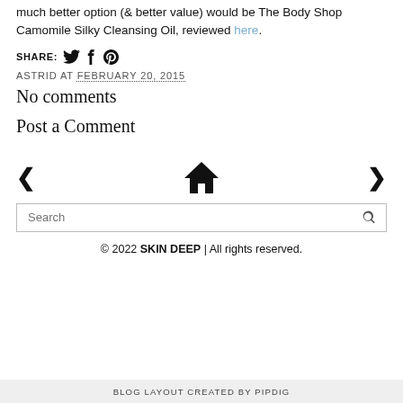much better option (& better value) would be The Body Shop Camomile Silky Cleansing Oil, reviewed here.
SHARE: [twitter] [facebook] [pinterest]
ASTRID AT FEBRUARY 20, 2015
No comments
Post a Comment
[Figure (other): Navigation bar with left arrow, home icon, right arrow]
Search
© 2022 SKIN DEEP | All rights reserved.
BLOG LAYOUT CREATED BY pipdig